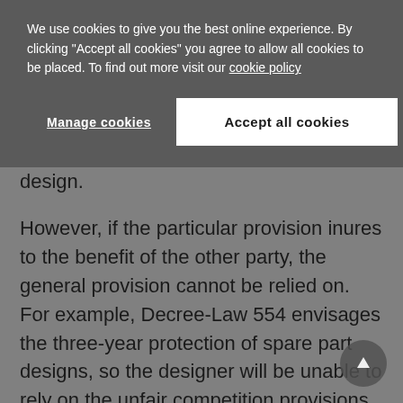We use cookies to give you the best online experience. By clicking "Accept all cookies" you agree to allow all cookies to be placed. To find out more visit our cookie policy
Manage cookies
Accept all cookies
design.
However, if the particular provision inures to the benefit of the other party, the general provision cannot be relied on. For example, Decree-Law 554 envisages the three-year protection of spare part designs, so the designer will be unable to rely on the unfair competition provisions which offer unlimited protection.